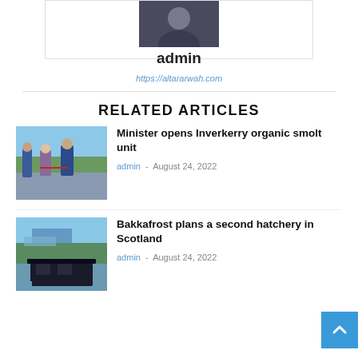[Figure (photo): Author avatar photo showing a person in dark clothing]
admin
https://altararwah.com
RELATED ARTICLES
[Figure (photo): Photo of people at an outdoor ribbon-cutting ceremony for Inverkerry organic smolt unit]
Minister opens Inverkerry organic smolt unit
admin - August 24, 2022
[Figure (photo): Aerial photo of Bakkafrost hatchery building in Scotland]
Bakkafrost plans a second hatchery in Scotland
admin - August 24, 2022